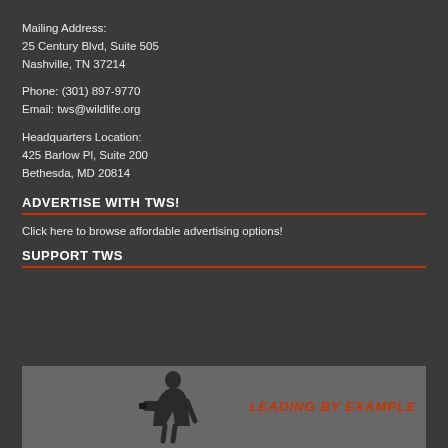Mailing Address:
25 Century Blvd, Suite 505
Nashville, TN 37214
Phone: (301) 897-9770
Email: tws@wildlife.org
Headquarters Location:
425 Barlow Pl, Suite 200
Bethesda, MD 20814
ADVERTISE WITH TWS!
Click here to browse affordable advertising options!
SUPPORT TWS
[Figure (photo): Dark background photo showing a wildlife photographer silhouette with text 'LEADING BY EXAMPLE' in red italic bold uppercase]